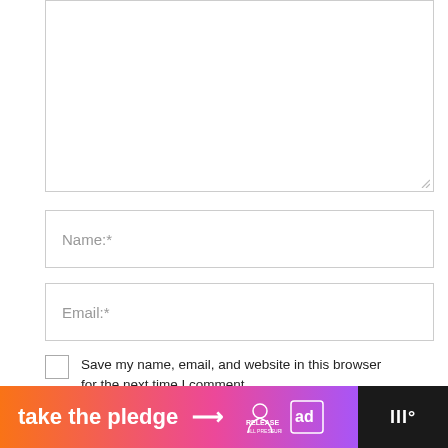[Figure (screenshot): Comment form textarea box (empty, resizable)]
Name:*
Email:*
Save my name, email, and website in this browser for the next time I comment.
POST COMMENT
[Figure (other): Floating heart/like button (blue circle) with count 12 and share button]
[Figure (other): Bottom banner ad: take the pledge with Release logo and ad icon, dark right side with Meredith logo]